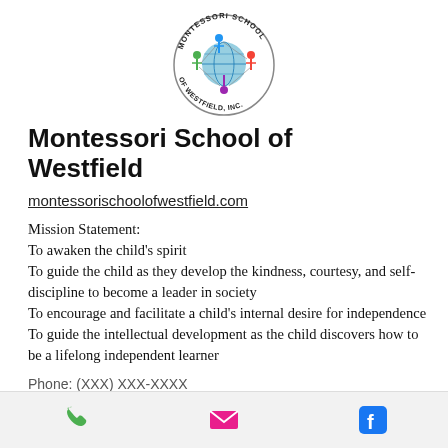[Figure (logo): Circular logo for Montessori School of Westfield Inc. with illustrated children holding hands around a globe, surrounded by text reading MONTESSORI SCHOOL OF WESTFIELD, INC.]
Montessori School of Westfield
montessorischoolofwestfield.com
Mission Statement:
To awaken the child's spirit
To guide the child as they develop the kindness, courtesy, and self-discipline to become a leader in society
To encourage and facilitate a child's internal desire for independence
To guide the intellectual development as the child discovers how to be a lifelong independent learner
Phone | Email | Facebook icons